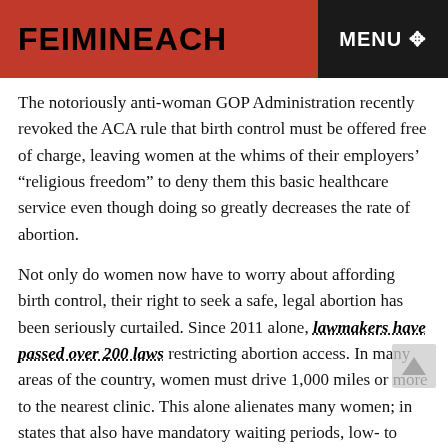FEIMINEACH   MENU
The notoriously anti-woman GOP Administration recently revoked the ACA rule that birth control must be offered free of charge, leaving women at the whims of their employers' “religious freedom” to deny them this basic healthcare service even though doing so greatly decreases the rate of abortion.
Not only do women now have to worry about affording birth control, their right to seek a safe, legal abortion has been seriously curtailed. Since 2011 alone, lawmakers have passed over 200 laws restricting abortion access. In many areas of the country, women must drive 1,000 miles or more to the nearest clinic. This alone alienates many women; in states that also have mandatory waiting periods, low- to moderate-income woman may well find terminating an unwanted pregnancy is impossible.
Being forced by societal circumstance to bear a child can understandably make a woman extremely stressed, anxious and overwhelmed. That feeling of being